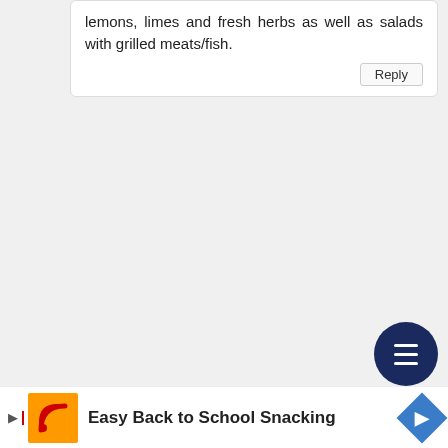lemons, limes and fresh herbs as well as salads with grilled meats/fish.
Reply
RandRAdventures
March 16, 2009 at 11:16 AM
I love Spring because it is the bicycle racing season, so my husband and I go on lots of little weekend getaways to beautiful places for the races.
Reply
Carrie's Creations
March 16, 2009 at 11:16 AM
Easy Back to School Snacking